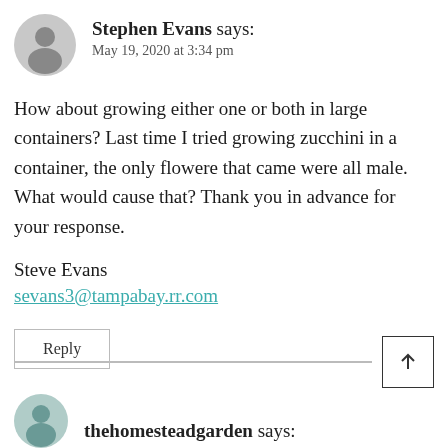Stephen Evans says:
May 19, 2020 at 3:34 pm
How about growing either one or both in large containers? Last time I tried growing zucchini in a container, the only flowere that came were all male. What would cause that? Thank you in advance for your response.
Steve Evans
sevans3@tampabay.rr.com
Reply
thehomesteadgarden says: